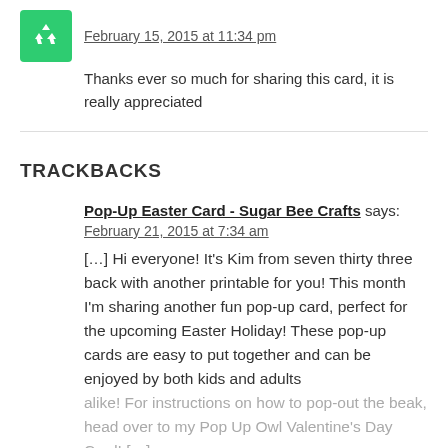[Figure (illustration): Green avatar icon with white recycling/arrows symbol]
February 15, 2015 at 11:34 pm
Thanks ever so much for sharing this card, it is really appreciated
TRACKBACKS
Pop-Up Easter Card - Sugar Bee Crafts says:
February 21, 2015 at 7:34 am
[…] Hi everyone! It's Kim from seven thirty three back with another printable for you! This month I'm sharing another fun pop-up card, perfect for the upcoming Easter Holiday! These pop-up cards are easy to put together and can be enjoyed by both kids and adults alike! For instructions on how to pop-out the beak, head over to my Pop Up Owl Valentine's Day Card! […]